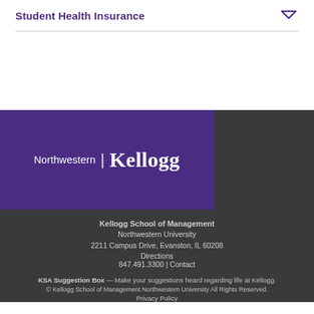Student Health Insurance
[Figure (logo): Northwestern Kellogg logo — white text on purple background with vertical divider between 'Northwestern' and 'Kellogg']
Kellogg School of Management
Northwestern University
2211 Campus Drive, Evanston, IL 60208
Directions
847.491.3300 | Contact
KSA Suggestion Box — Make your suggestions heard regarding life at Kellogg.
© Kellogg School of Management Northwestern University All Rights Reserved.
Privacy Policy